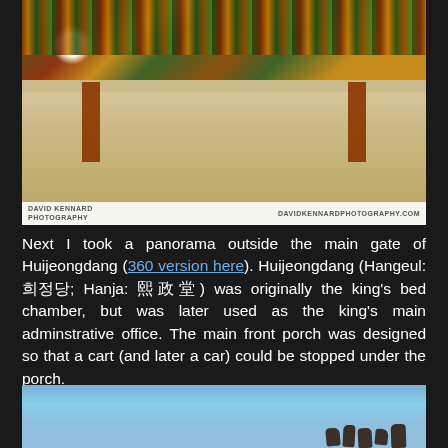[Figure (photo): Panoramic photograph of Huijeongdang main gate at Changdeokgung Palace in Seoul, Korea. Shows ornate colorful traditional Korean architecture with elaborate painted eaves/roof, large open courtyard with sandy ground, trees in background. Photo credit: David Kennard Photography / davidkennardphotography.com]
Next I took a panorama outside the main gate of Huijeongdang (360 version here). Huijeongdang (Hangeul: 희정당; Hanja: 熙政堂) was originally the king's bed chamber, but was later used as the king's main adminstrative office. The main front porch was designed so that a cart (and later a car) could be stopped under the porch.
[Figure (photo): Photograph looking up at decorative roof figures (japsang) on the ridge of a traditional Korean palace building against blue sky background.]